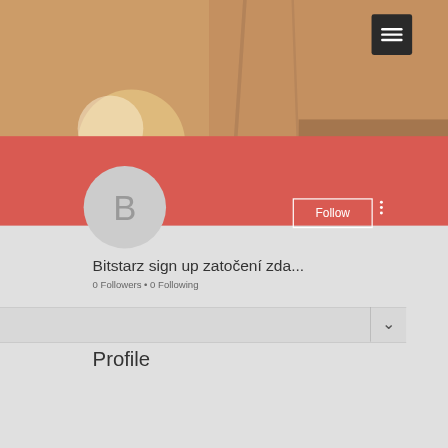[Figure (screenshot): Mobile app profile page screenshot showing a user profile with a sepia-toned background photo, a hamburger menu button in the top right, a red profile banner, a circular avatar with letter B, a Follow button, a username 'Bitstarz sign up zatočení zda...', follower count '0 Followers • 0 Following', a tab bar with a chevron, and a 'Profile' section heading.]
Bitstarz sign up zatočení zda...
0 Followers • 0 Following
Profile